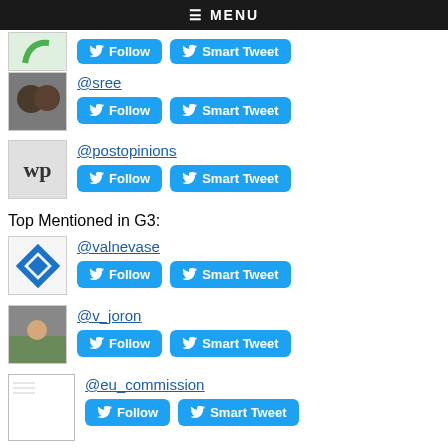≡ MENU
[Figure (screenshot): Partial user row cut off at top with two blue buttons]
@sree
Follow  Smart Tweet
@postopinions
Follow  Smart Tweet
Top Mentioned in G3:
@valnevase
Follow  Smart Tweet
@v_joron
Follow  Smart Tweet
@eu_commission
Follow  Smart Tweet
@ch_coulon
Follow  Smart Tweet
@zenon71647295